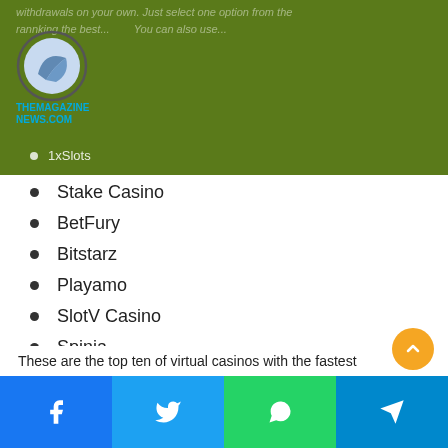withdrawals on your own. Just select one option from the ranking the best... You can also use...
[Figure (logo): TheMagazineNews.com logo — circular oval emblem with swoosh, teal/cyan text below reading THEMAGAZINENEWS.COM]
1xSlots
Stake Casino
BetFury
Bitstarz
Playamo
SlotV Casino
Spinia
Bob Casino
Joycasino
Casino Z
These are the top ten of virtual casinos with the fastest